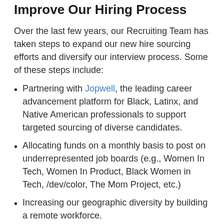Improve Our Hiring Process
Over the last few years, our Recruiting Team has taken steps to expand our new hire sourcing efforts and diversify our interview process. Some of these steps include:
Partnering with Jopwell, the leading career advancement platform for Black, Latinx, and Native American professionals to support targeted sourcing of diverse candidates.
Allocating funds on a monthly basis to post on underrepresented job boards (e.g., Women In Tech, Women In Product, Black Women in Tech, /dev/color, The Mom Project, etc.)
Increasing our geographic diversity by building a remote workforce.